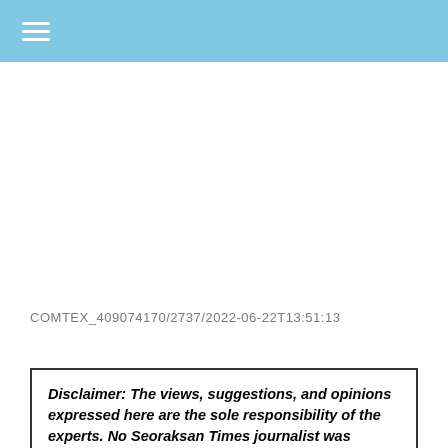☰
COMTEX_409074170/2737/2022-06-22T13:51:13
Disclaimer: The views, suggestions, and opinions expressed here are the sole responsibility of the experts. No Seoraksan Times journalist was involved in the writing